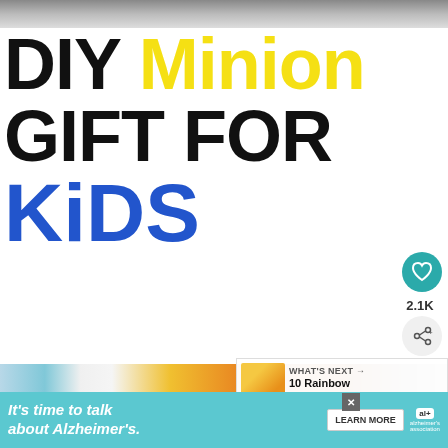[Figure (photo): Top portion of a photo, blurred/cropped, gray tones]
DIY MINION GIFT FOR KIDS
2.1K
[Figure (photo): Photo of DIY Minion gift bag with blue handle and colorful Minion-themed items]
WHAT'S NEXT → 10 Rainbow Busy Bags f...
It's time to talk about Alzheimer's. LEARN MORE